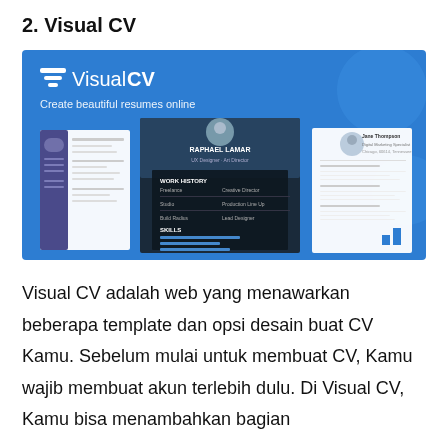2. Visual CV
[Figure (screenshot): Screenshot of the Visual CV website homepage showing the logo 'VisualCV', tagline 'Create beautiful resumes online', and sample resume templates displayed on a blue background.]
Visual CV adalah web yang menawarkan beberapa template dan opsi desain buat CV Kamu. Sebelum mulai untuk membuat CV, Kamu wajib membuat akun terlebih dulu. Di Visual CV, Kamu bisa menambahkan bagian